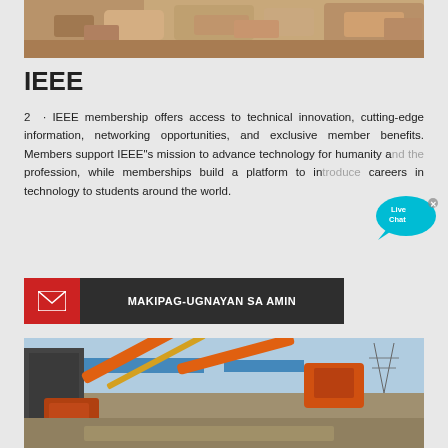[Figure (photo): Top portion of image showing rocks/rubble in sandy/dirt terrain, partial view]
IEEE
2 · IEEE membership offers access to technical innovation, cutting-edge information, networking opportunities, and exclusive member benefits. Members support IEEE"s mission to advance technology for humanity and the profession, while memberships build a platform to introduce careers in technology to students around the world.
[Figure (infographic): Contact button with red envelope icon on left and dark background with text MAKIPAG-UGNAYAN SA AMIN]
[Figure (photo): Industrial mining/crushing plant with orange conveyor belts and heavy machinery at a construction site]